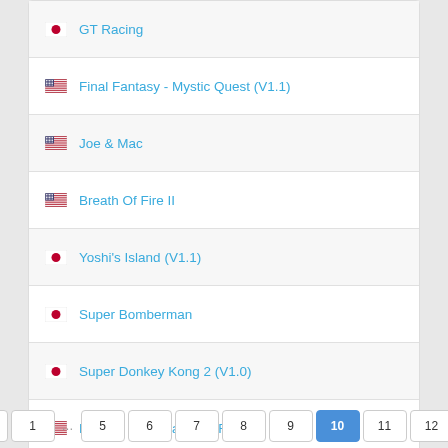GT Racing
Final Fantasy - Mystic Quest (V1.1)
Joe & Mac
Breath Of Fire II
Yoshi's Island (V1.1)
Super Bomberman
Super Donkey Kong 2 (V1.0)
Legend Of Zelda, The (FC)
Looney Tunes B-Ball
Barbie Super Model
‹ Prev  1  …  5  6  7  8  9  10  11  12  1